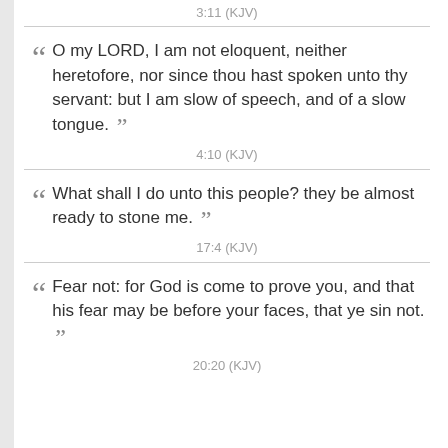3:11 (KJV)
O my LORD, I am not eloquent, neither heretofore, nor since thou hast spoken unto thy servant: but I am slow of speech, and of a slow tongue.
4:10 (KJV)
What shall I do unto this people? they be almost ready to stone me.
17:4 (KJV)
Fear not: for God is come to prove you, and that his fear may be before your faces, that ye sin not.
20:20 (KJV)